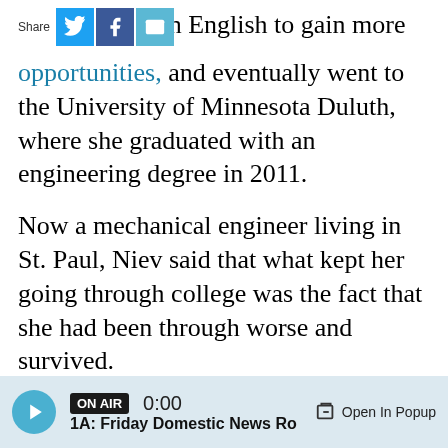[Figure (infographic): Share bar with Twitter, Facebook, and email icons]
rn English to gain more opportunities, and eventually went to the University of Minnesota Duluth, where she graduated with an engineering degree in 2011.
Now a mechanical engineer living in St. Paul, Niev said that what kept her going through college was the fact that she had been through worse and survived.
"Whatever we do, whatever we face, it will be hard for now because we do not understand the reason why. We do not see the whole picture. And when time went by, you look back and you pray for wisdom," she said. "Life is very short and unpredictable, why not try to live in peace and try
ON AIR 0:00 1A: Friday Domestic News Ro  Open In Popup